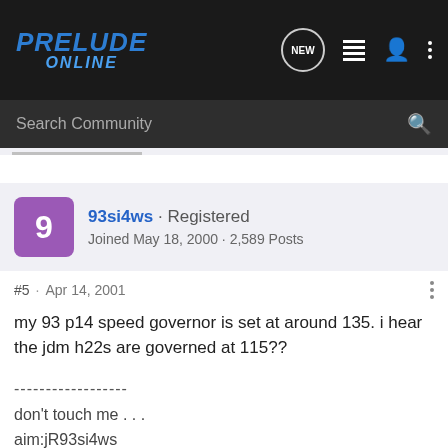PRELUDE ONLINE
Search Community
93si4ws · Registered
Joined May 18, 2000 · 2,589 Posts
#5 · Apr 14, 2001
my 93 p14 speed governor is set at around 135. i hear the jdm h22s are governed at 115??
------------------
don't touch me . . .
aim:jR93si4ws

93vtec4ws